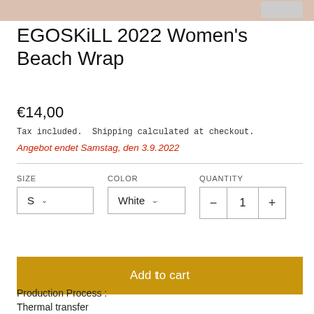[Figure (photo): Partial product image strip at the top of the page, cropped view of a beach wrap]
EGOSKiLL 2022 Women's Beach Wrap
€14,00
Tax included. Shipping calculated at checkout.
Angebot endet Samstag, den 3.9.2022
SIZE
S
COLOR
White
QUANTITY
− 1 +
Add to cart
Production Process :
Thermal transfer